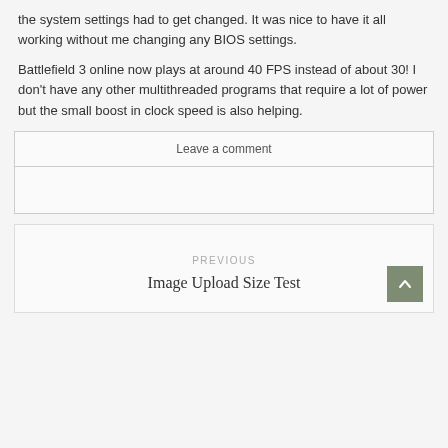the system settings had to get changed. It was nice to have it all working without me changing any BIOS settings.
Battlefield 3 online now plays at around 40 FPS instead of about 30! I don't have any other multithreaded programs that require a lot of power but the small boost in clock speed is also helping.
Leave a comment
PREVIOUS
Image Upload Size Test